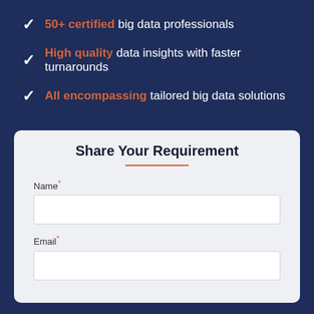50+ certified big data professionals
High quality data insights with faster turnarounds
All encompassing tailored big data solutions
Share Your Requirement
Name*
Email*